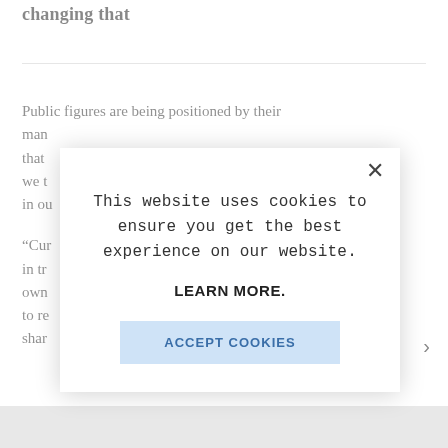changing that
Public figures are being positioned by their man that we t in ou
“Cur in tr own to re shar
[Figure (screenshot): Cookie consent modal overlay with text: 'This website uses cookies to ensure you get the best experience on our website.' with LEARN MORE link and ACCEPT COOKIES button. Has X close button in top right.]